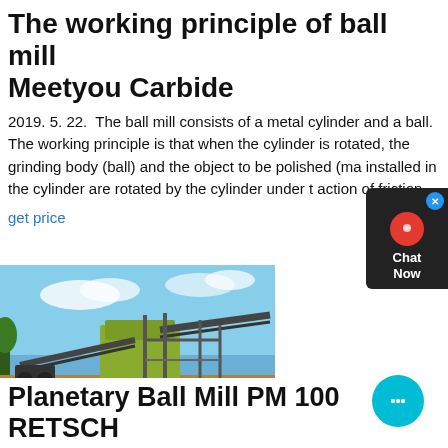The working principle of ball mill Meetyou Carbide
2019. 5. 22.  The ball mill consists of a metal cylinder and a ball. The working principle is that when the cylinder is rotated, the grinding body (ball) and the object to be polished (ma... installed in the cylinder are rotated by the cylinder under the action of friction
get price
[Figure (photo): Outdoor industrial ball mill or crushing/grinding equipment on sandy ground with conveyor belts and steel structures against a blue sky.]
Planetary Ball Mill PM 100 RETSCH